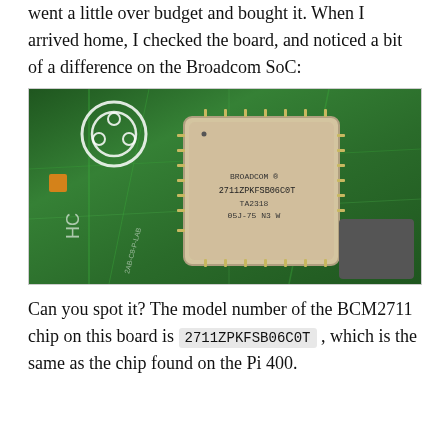went a little over budget and bought it. When I arrived home, I checked the board, and noticed a bit of a difference on the Broadcom SoC:
[Figure (photo): Close-up photo of a Raspberry Pi 4 circuit board showing the Broadcom BCM2711 SoC chip with markings: BROADCOM, 2711ZPKFSB06C0T, TA2318, 05J-75 N3 W. The green PCB shows the Raspberry Pi logo and circuit traces.]
Can you spot it? The model number of the BCM2711 chip on this board is 2711ZPKFSB06C0T , which is the same as the chip found on the Pi 400.